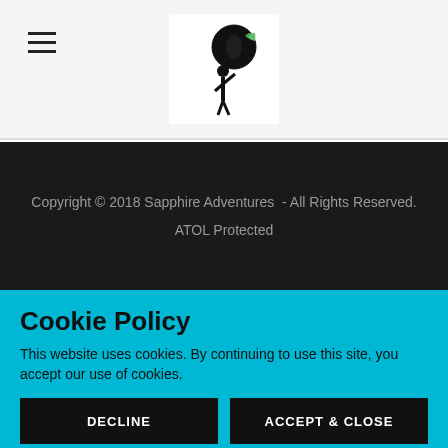[Figure (logo): Sapphire Adventures logo: silhouette of a person holding up a globe with a green leaf/bird, on a white background]
Copyright © 2018 Sapphire Adventures  - All Rights Reserved.
ATOL Protected
Cookie Policy
This website uses cookies. By continuing to use this site, you accept our use of cookies.
DECLINE
ACCEPT & CLOSE